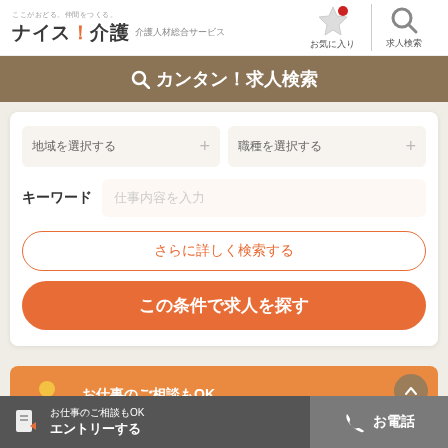[Figure (screenshot): ナイス！介護 website header with logo, お気に入り (favorites) and 求人検索 (job search) icons]
カンタン！求人検索
地域を選択する
職種を選択する
キーワード　仕事内容を入力
さらに詳しく検索する
この条件で求人を探す
お仕事のご相談もOK
お仕事のご相談もOK エントリーする
お電話